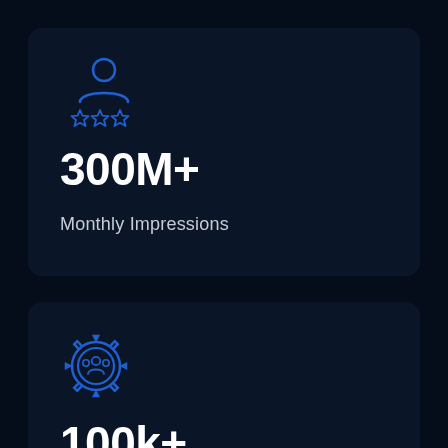[Figure (infographic): Blue outline icon of a person (user/influencer) with three blue star icons below, representing influencer/user rating]
300M+
Monthly Impressions
[Figure (infographic): Blue outline gear/cog icon with a group of people silhouettes inside, representing community or team]
100k+